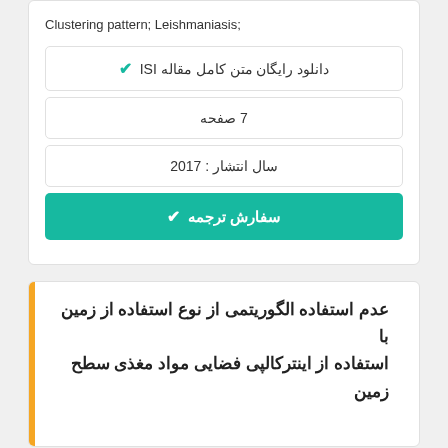Clustering pattern; Leishmaniasis;
دانلود رایگان متن کامل مقاله ISI
7 صفحه
سال انتشار : 2017
سفارش ترجمه
عدم استفاده الگوریتمی از نوع استفاده از زمین با استفاده از اینترکالپی فضایی مواد مغذی سطح زمین